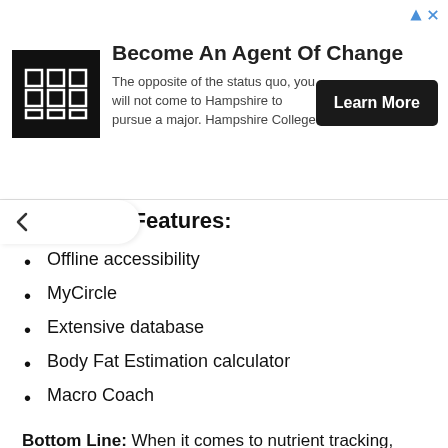[Figure (other): Advertisement banner for Hampshire College: logo with grid icon, headline 'Become An Agent Of Change', body text, and 'Learn More' button]
Key Features:
Offline accessibility
MyCircle
Extensive database
Body Fat Estimation calculator
Macro Coach
Bottom Line: When it comes to nutrient tracking, MyMacros+ has helped set a high standard for keto apps. It has an extensive database with over 5 million foods, but the